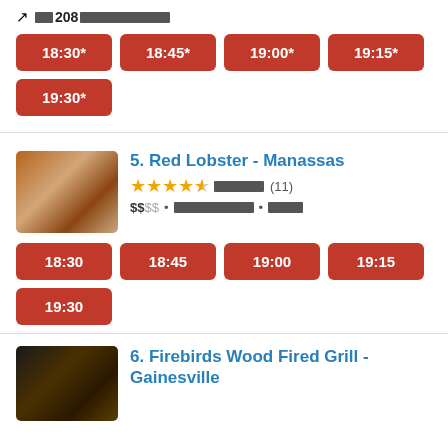[redacted] 208 [redacted]
18:30*
18:45*
19:00*
19:15*
19:30*
5. Red Lobster - Manassas
★★★★½ [redacted] (11) $$ [redacted] • [redacted] • [redacted]
18:30
18:45
19:00
19:15
19:30
6. Firebirds Wood Fired Grill - Gainesville